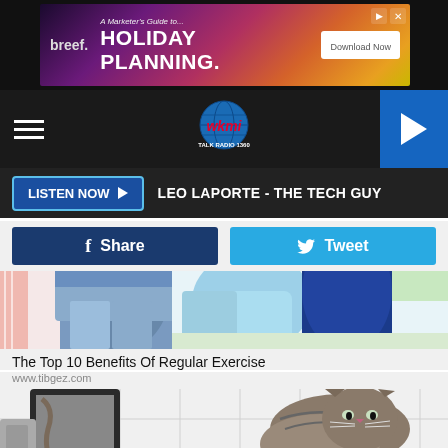[Figure (screenshot): Advertisement banner for Breef - A Marketer's Guide to Holiday Planning with Download Now button]
[Figure (logo): WKMI Talk Radio 1360 navigation bar with hamburger menu and play button]
LISTEN NOW ▶  LEO LAPORTE - THE TECH GUY
[Figure (illustration): Share and Tweet social media buttons]
[Figure (illustration): Two thumbnails showing exercise illustrations - blue pants and blue shorts/water]
The Top 10 Benefits Of Regular Exercise
www.tibgez.com
[Figure (photo): Photo of a man smiling in a bathroom while a cat stands on his head/shoulders near a mirror]